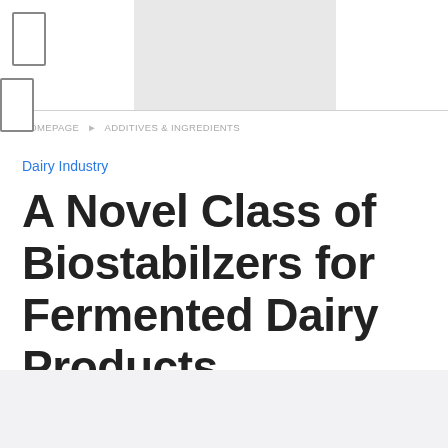HOMEPAGE ▸ ADDITIVES & INGREDIENTS
Dairy Industry
A Novel Class of Biostabilzers for Fermented Dairy Products